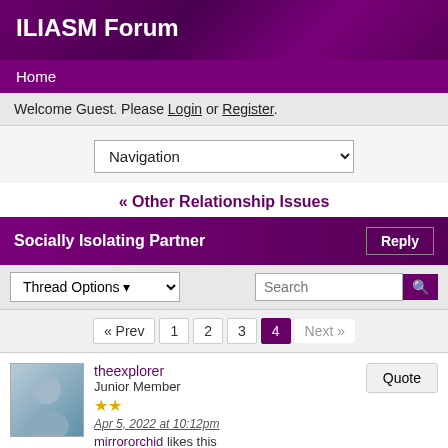ILIASM Forum
Home
Welcome Guest. Please Login or Register.
[Figure (screenshot): Navigation dropdown selector]
« Other Relationship Issues
Socially Isolating Partner
[Figure (screenshot): Thread Options dropdown and Search box with pagination: « Prev 1 2 3 4 Next »]
theexplorer
Junior Member
★★
Apr 5, 2022 at 10:12pm
mirrororchid likes this
Sorry guys!! I was NOT being very clear in the previous post!